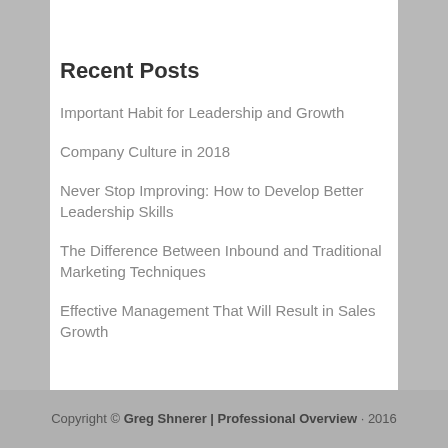Recent Posts
Important Habit for Leadership and Growth
Company Culture in 2018
Never Stop Improving: How to Develop Better Leadership Skills
The Difference Between Inbound and Traditional Marketing Techniques
Effective Management That Will Result in Sales Growth
Copyright © Greg Shnerer | Professional Overview · 2016